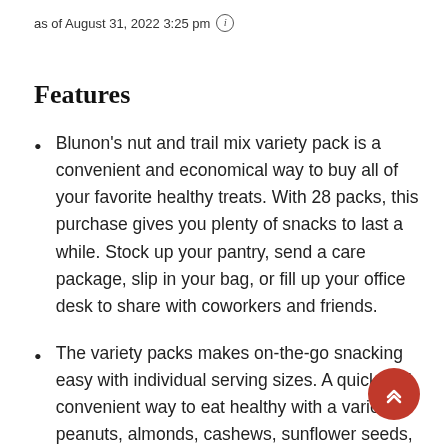as of August 31, 2022 3:25 pm ℹ
Features
Blunon's nut and trail mix variety pack is a convenient and economical way to buy all of your favorite healthy treats. With 28 packs, this purchase gives you plenty of snacks to last a while. Stock up your pantry, send a care package, slip in your bag, or fill up your office desk to share with coworkers and friends.
The variety packs makes on-the-go snacking easy with individual serving sizes. A quick and convenient way to eat healthy with a variety of peanuts, almonds, cashews, sunflower seeds, walnuts, pistachios, trail mix